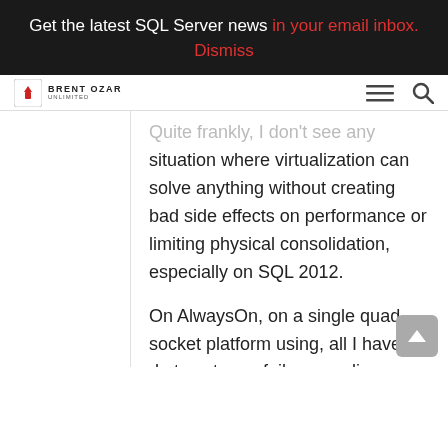Get the latest SQL Server news in your email inbox. Dismiss
BRENT OZAR UNLIMITED
Quite frankly, I don't see any situation where virtualization can solve anything without creating bad side effects on performance or limiting physical consolidation, especially on SQL 2012.
On AlwaysOn, on a single quad socket platform using, all I have to do to set up a failover replica on different server is 3 clicks for set up and 1 click to failover. Plus MS does not play ping pong in support with